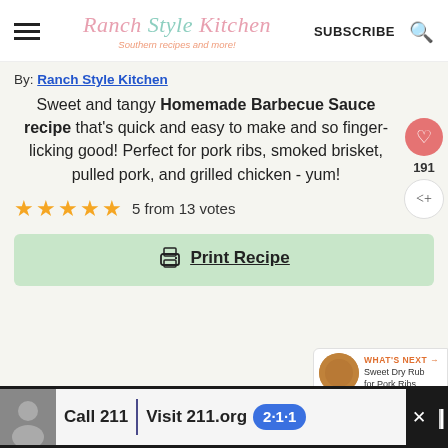Ranch Style Kitchen — Southern recipes and more!
By: Ranch Style Kitchen
Sweet and tangy Homemade Barbecue Sauce recipe that's quick and easy to make and so finger-licking good! Perfect for pork ribs, smoked brisket, pulled pork, and grilled chicken - yum!
5 from 13 votes
Print Recipe
[Figure (other): What's Next panel showing a spice rub thumbnail with label 'WHAT'S NEXT → Sweet Dry Rub for Pork Ribs']
[Figure (other): Advertisement banner: Call 211 | Visit 211.org with 2-1-1 badge logo]